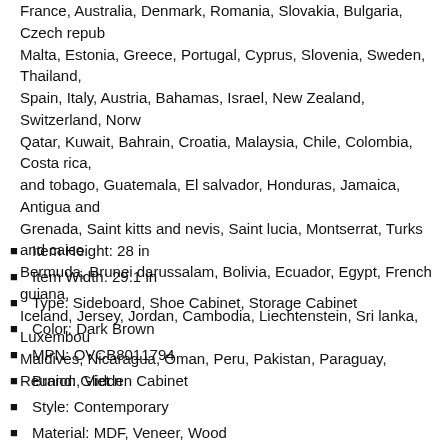France, Australia, Denmark, Romania, Slovakia, Bulgaria, Czech republic, Malta, Estonia, Greece, Portugal, Cyprus, Slovenia, Sweden, Thailand, Spain, Italy, Austria, Bahamas, Israel, New Zealand, Switzerland, Norway, Qatar, Kuwait, Bahrain, Croatia, Malaysia, Chile, Colombia, Costa rica, and tobago, Guatemala, El salvador, Honduras, Jamaica, Antigua and Grenada, Saint kitts and nevis, Saint lucia, Montserrat, Turks and caicos, Bermuda, Brunei darussalam, Bolivia, Ecuador, Egypt, French guiana, Iceland, Jersey, Jordan, Cambodia, Liechtenstein, Sri lanka, Luxembourg, Maldives, Nicaragua, Oman, Peru, Pakistan, Paraguay, Reunion, Viet n
Item Height: 28 in
Item Width: 29.1 in
Type: Sideboard, Shoe Cabinet, Storage Cabinet
Color: Dark Brown
MPN: OVCB8011794
Brand: Glidden Cabinet
Style: Contemporary
Material: MDF, Veneer, Wood
Use: Shoe Storage, Sideboard Buffet, Storage
Item Length: 15.1 in
Room: Dining Room, Entryway, Kitchen, Living Room